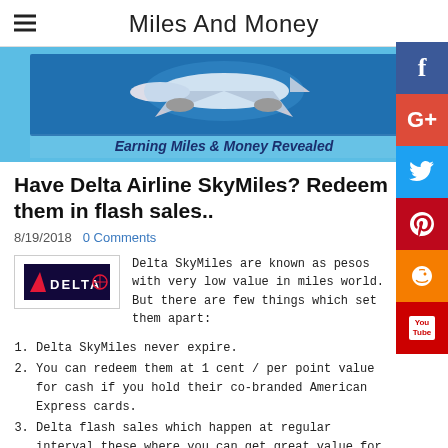Miles And Money
[Figure (illustration): Banner image with airplane and text 'Earning Miles & Money Revealed' on blue background]
Have Delta Airline SkyMiles? Redeem them in flash sales..
8/19/2018   0 Comments
[Figure (logo): Delta Airlines logo - triangle and DELTA text on dark background]
Delta SkyMiles are known as pesos with very low value in miles world. But there are few things which set them apart:
Delta SkyMiles never expire.
You can redeem them at 1 cent / per point value for cash if you hold their co-branded American Express cards.
Delta flash sales which happen at regular interval these where you can get great value for redemption (greater than cent value which SkyMiles is famous for).